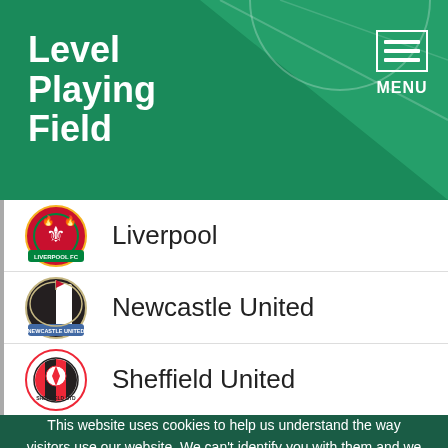Level Playing Field
Liverpool
Newcastle United
Sheffield United
This website uses cookies to help us understand the way visitors use our website. We can't identify you with them and we don't share the data with anyone else. Find out more in our privacy policy.
Accept cookies | Reject cookies